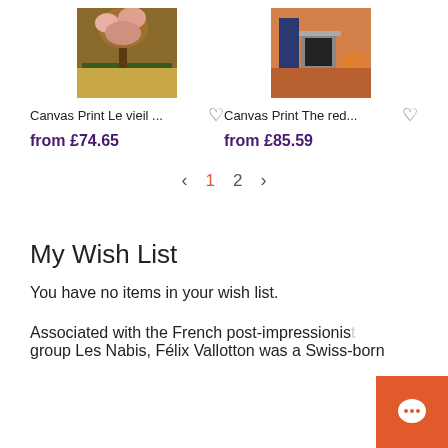[Figure (photo): Canvas print of Le vieil... artwork showing a tree with colorful background]
[Figure (photo): Canvas print of The red... artwork showing an interior room with orange and blue tones]
Canvas Print Le vieil ...
Canvas Print The red...
from £74.65
from £85.59
< 1 2 >
My Wish List
You have no items in your wish list.
Associated with the French post-impressionis group Les Nabis, Félix Vallotton was a Swiss-born